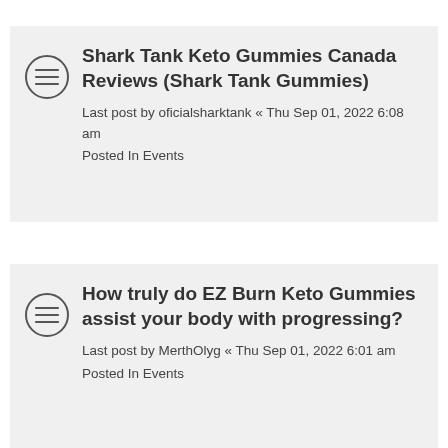Shark Tank Keto Gummies Canada Reviews (Shark Tank Gummies)
Last post by oficialsharktank « Thu Sep 01, 2022 6:08 am
Posted In Events
How truly do EZ Burn Keto Gummies assist your body with progressing?
Last post by MerthOlyg « Thu Sep 01, 2022 6:01 am
Posted In Events